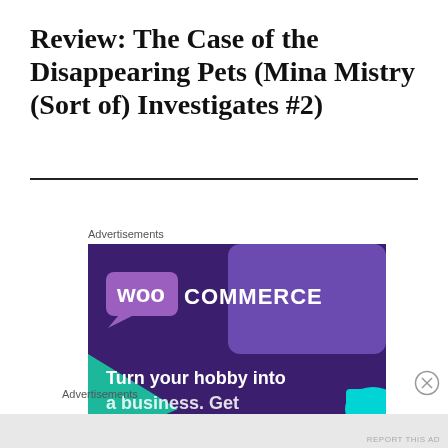Review: The Case of the Disappearing Pets (Mina Mistry (Sort of) Investigates #2)
Advertisements
[Figure (screenshot): WooCommerce advertisement banner with purple background and teal accent shapes. Shows WooCommerce logo and text 'Turn your hobby into']
Advertisements